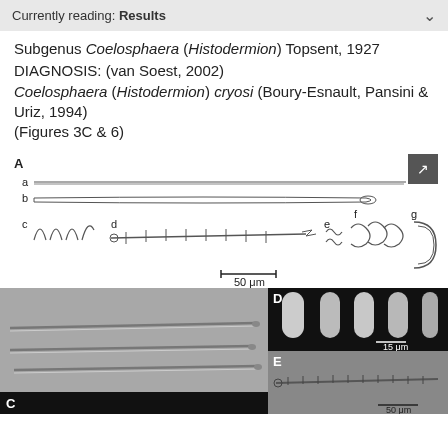Currently reading: Results
Subgenus Coelosphaera (Histodermion) Topsent, 1927
DIAGNOSIS: (van Soest, 2002) Coelosphaera (Histodermion) cryosi (Boury-Esnault, Pansini & Uriz, 1994) (Figures 3C & 6)
[Figure (illustration): Figure A: scientific illustration of spicules labeled a through g, showing elongated styles (a, b), hook-shaped structures (c), a complex spicule with projections (d), small curved shapes (e), spiral forms (f), and open ring shapes (g). Scale bar: 50 μm.]
[Figure (photo): Figure B: light microscopy image of elongated spicules on grey background. Scale bar: 100 μm.]
[Figure (photo): Figure D: SEM image of rounded spicule tips on black background. Scale bar: 15 μm.]
[Figure (photo): Figure E: microscopy image of a spicule with projections on grey background. Scale bar: 50 μm.]
[Figure (photo): Figure C: dark background microscopy panel (partially visible at bottom).]